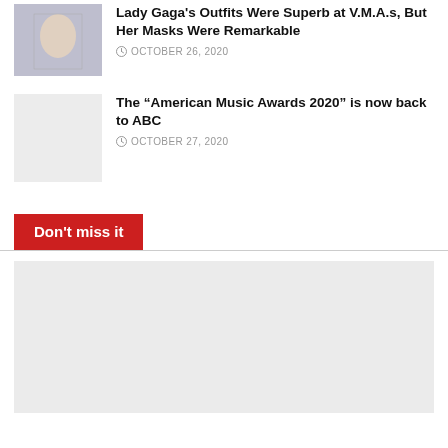Lady Gaga's Outfits Were Superb at V.M.A.s, But Her Masks Were Remarkable
OCTOBER 26, 2020
The “American Music Awards 2020” is now back to ABC
OCTOBER 27, 2020
Don't miss it
[Figure (photo): Large placeholder image area below Don't miss it section]